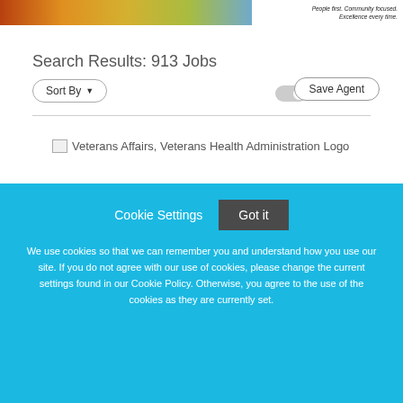[Figure (photo): Header banner image with flowers/nature background and text 'People first. Community focused. Excellence every time.']
Search Results: 913 Jobs
Sort By ▼
Save Agent
[Figure (logo): Veterans Affairs, Veterans Health Administration Logo (broken image placeholder)]
Cookie Settings
Got it
We use cookies so that we can remember you and understand how you use our site. If you do not agree with our use of cookies, please change the current settings found in our Cookie Policy. Otherwise, you agree to the use of the cookies as they are currently set.